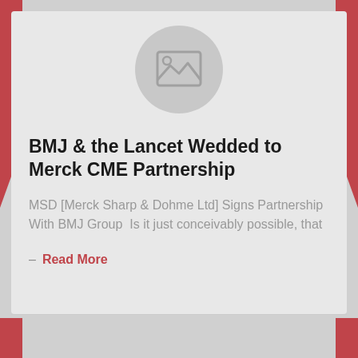[Figure (illustration): Placeholder image icon — grey circle with a generic image/mountain landscape icon inside]
BMJ & the Lancet Wedded to Merck CME Partnership
MSD [Merck Sharp & Dohme Ltd] Signs Partnership With BMJ Group  Is it just conceivably possible, that
– Read More